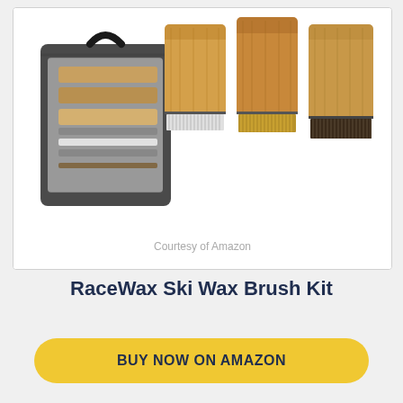[Figure (photo): RaceWax Ski Wax Brush Kit product photo showing multiple wooden-backed brushes with different bristle types fanned out, alongside a clear zippered carrying case with black trim]
Courtesy of Amazon
RaceWax Ski Wax Brush Kit
BUY NOW ON AMAZON